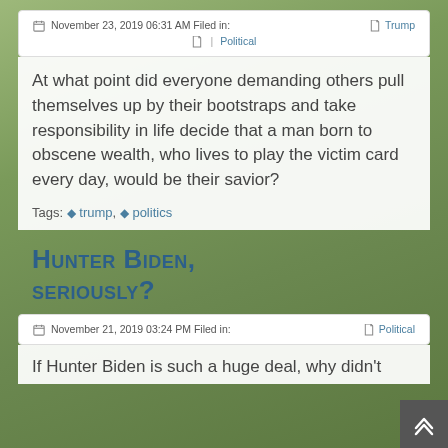November 23, 2019 06:31 AM Filed in:   Trump  | Political
At what point did everyone demanding others pull themselves up by their bootstraps and take responsibility in life decide that a man born to obscene wealth, who lives to play the victim card every day, would be their savior?
Tags: trump, politics
Hunter Biden, seriously?
November 21, 2019 03:24 PM Filed in:   Political
If Hunter Biden is such a huge deal, why didn't